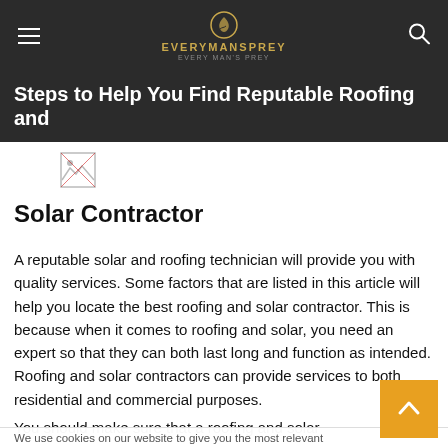EVERYMANSPREY
Steps to Help You Find Reputable Roofing and
[Figure (illustration): Broken/missing image placeholder icon]
Solar Contractor
A reputable solar and roofing technician will provide you with quality services. Some factors that are listed in this article will help you locate the best roofing and solar contractor. This is because when it comes to roofing and solar, you need an expert so that they can both last long and function as intended. Roofing and solar contractors can provide services to both residential and commercial purposes.
You should make sure that a roofing and solar
We use cookies on our website to give you the most relevant